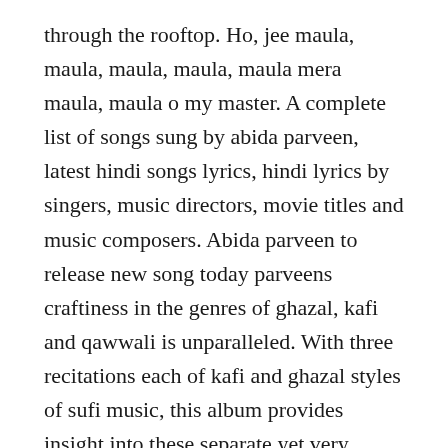through the rooftop. Ho, jee maula, maula, maula, maula, maula mera maula, maula o my master. A complete list of songs sung by abida parveen, latest hindi songs lyrics, hindi lyrics by singers, music directors, movie titles and music composers. Abida parveen to release new song today parveens craftiness in the genres of ghazal, kafi and qawwali is unparalleled. With three recitations each of kafi and ghazal styles of sufi music, this album provides insight into these separate yet very similar subgenres. Jul 22, 2017